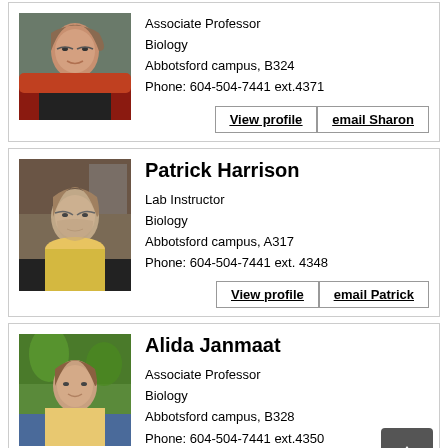[Figure (photo): Portrait photo of a woman with glasses and a red scarf]
Associate Professor
Biology
Abbotsford campus, B324
Phone: 604-504-7441 ext.4371
View profile | email Sharon
Patrick Harrison
[Figure (photo): Portrait photo of an older man with glasses and a yellow hoodie]
Lab Instructor
Biology
Abbotsford campus, A317
Phone: 604-504-7441 ext. 4348
View profile | email Patrick
Alida Janmaat
[Figure (photo): Portrait photo of a woman outdoors with green foliage background]
Associate Professor
Biology
Abbotsford campus, B328
Phone: 604-504-7441 ext.4350